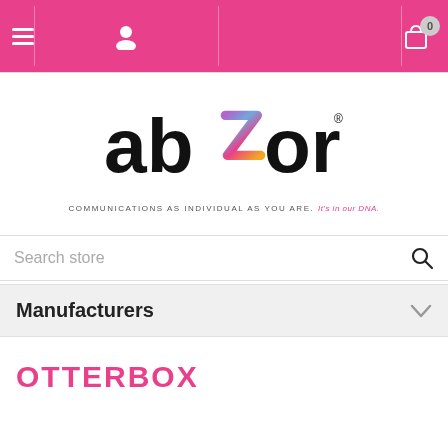[Figure (screenshot): Pink navigation bar with hamburger menu icon, user icon, and shopping cart icon with badge showing 0]
[Figure (logo): abZorb logo with colorful Z letter graphic and tagline: COMMUNICATIONS AS INDIVIDUAL AS YOU ARE. It's in our DNA.]
Search store
Manufacturers
OTTERBOX